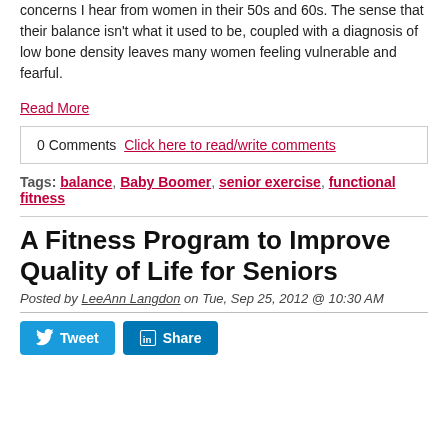concerns I hear from women in their 50s and 60s. The sense that their balance isn't what it used to be, coupled with a diagnosis of low bone density leaves many women feeling vulnerable and fearful.
Read More
0 Comments  Click here to read/write comments
Tags: balance, Baby Boomer, senior exercise, functional fitness
A Fitness Program to Improve Quality of Life for Seniors
Posted by LeeAnn Langdon on Tue, Sep 25, 2012 @ 10:30 AM
[Figure (other): Tweet and Share social media buttons]